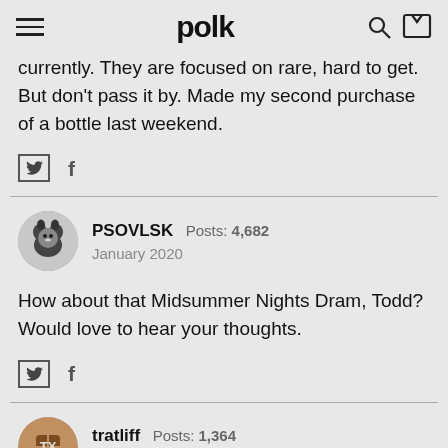polk
currently. They are focused on rare, hard to get. But don't pass it by. Made my second purchase of a bottle last weekend.
PSOVLSK  Posts: 4,682  January 2020
How about that Midsummer Nights Dram, Todd? Would love to hear your thoughts.
tratliff  Posts: 1,364  January 2020